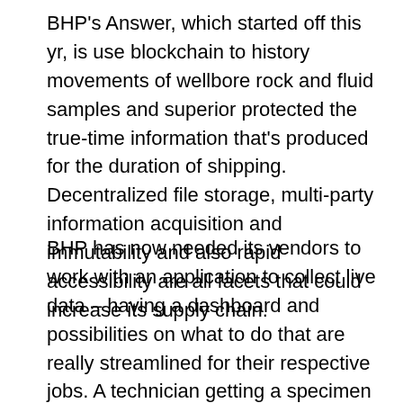BHP's Answer, which started off this yr, is use blockchain to history movements of wellbore rock and fluid samples and superior protected the true-time information that's produced for the duration of shipping. Decentralized file storage, multi-party information acquisition and immutability and also rapid accessibility are all facets that could increase its supply chain.
BHP has now needed its vendors to work with an application to collect live data – having a dashboard and possibilities on what to do that are really streamlined for their respective jobs. A technician getting a specimen can attach details such as collection time, a lab researcher can include reports, and all will be straight away seen to